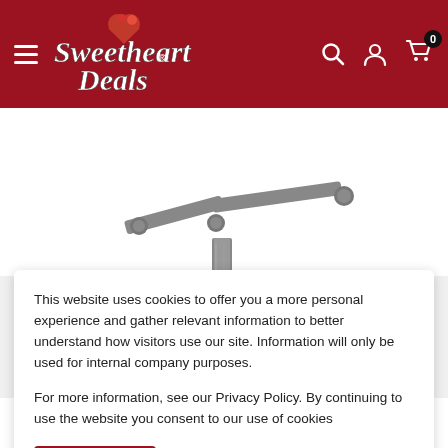[Figure (screenshot): Sweetheart Deals website header with dark red background, hamburger menu, logo, search icon, account icon, and cart icon with 0 badge]
[Figure (photo): Product image of a metal door closer hardware component, T-shaped arm assembly in silver/grey metal finish, shown on white background]
This website uses cookies to offer you a more personal experience and gather relevant information to better understand how visitors use our site. Information will only be used for internal company purposes.
For more information, see our Privacy Policy. By continuing to use the website you consent to our use of cookies
Accept